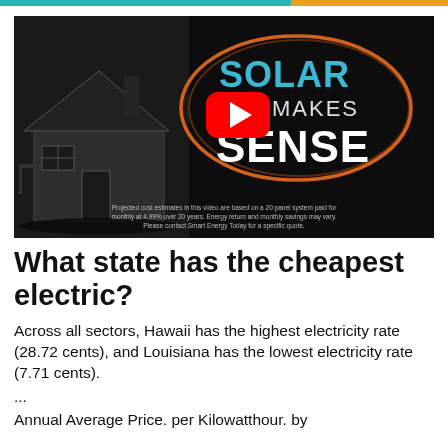[Figure (screenshot): Video thumbnail showing a dark scene with a house on the left and bold text reading 'SOLAR MAKES SENSE' on the right with a YouTube play button in the center, surrounded by an orange oval. Small disclaimer text at the bottom reads: Projected cost estimates in this video are based on a 20 panel system paid for monthly at 4.99% over 20 years. Energy return and monthly savings may vary. Please contact Smart Energy Today for a specific quote.]
What state has the cheapest electric?
Across all sectors, Hawaii has the highest electricity rate (28.72 cents), and Louisiana has the lowest electricity rate (7.71 cents).
...
Annual Average Price. per Kilowatthour. by